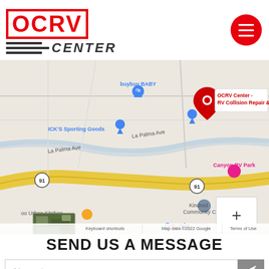[Figure (logo): OCRV Center logo with red text and gray horizontal lines with italic CENTER text]
[Figure (map): Google Maps screenshot showing OCRV Center - RV Collision Repair & location near La Palma Ave and route 91, with pins for buybuy BABY, ICK'S Sporting Goods, Canyon RV Park, Kindred Community Church, oo Urban Kitchen, Running Springs Elementary. Map data ©2022 Google.]
SEND US A MESSAGE
Name *